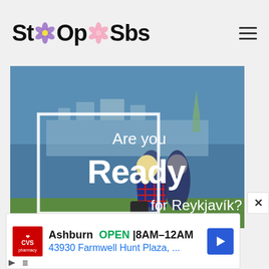StOp Sbs
[Figure (photo): Travel advertisement showing two people sitting on grass overlooking water and the Reykjavik skyline. Text overlay reads 'Are you Ready for Reykjavik?' with a 'Plan your visit' button.]
[Figure (infographic): CVS Pharmacy advertisement showing store location: Ashburn, OPEN 8AM-12AM, 43930 Farmwell Hunt Plaza, ...]